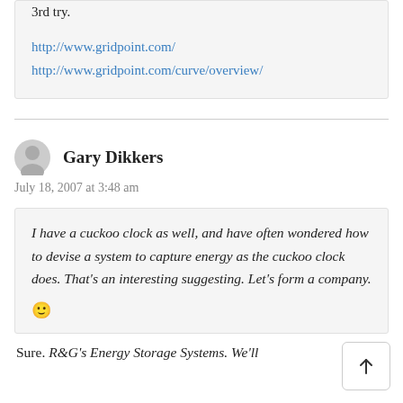3rd try.
http://www.gridpoint.com/
http://www.gridpoint.com/curve/overview/
Gary Dikkers
July 18, 2007 at 3:48 am
I have a cuckoo clock as well, and have often wondered how to devise a system to capture energy as the cuckoo clock does. That's an interesting suggesting. Let's form a company. 🙂
Sure. R&G's Energy Storage Systems. We'll